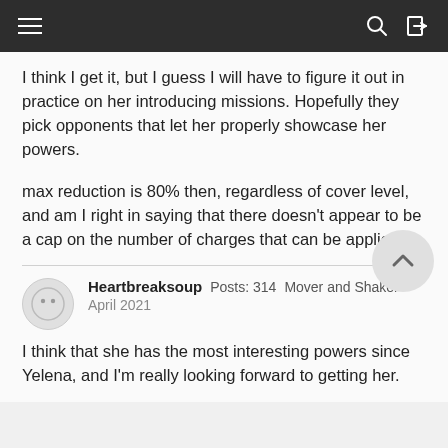Navigation bar with hamburger menu, search and login icons
I think I get it, but I guess I will have to figure it out in practice on her introducing missions. Hopefully they pick opponents that let her properly showcase her powers.
max reduction is 80% then, regardless of cover level, and am I right in saying that there doesn't appear to be a cap on the number of charges that can be applied?
Heartbreaksoup  Posts: 314  Mover and Shaker
April 2021
I think that she has the most interesting powers since Yelena, and I'm really looking forward to getting her.